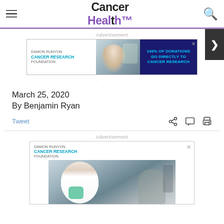Cancer Health
[Figure (screenshot): Cancer Health website screenshot showing navigation header with hamburger menu, Cancer Health logo in purple/dark, and search icon]
Advertisement
[Figure (screenshot): Damon Runyon Cancer Research Foundation advertisement banner: left side shows organization name in teal, middle shows lab researcher photo, right side shows dark blue background with '100% OF DONATIONS GO DIRECTLY TO CANCER RESEARCH' in teal text]
· · · ·
March 25, 2020
By Benjamin Ryan
Tweet
Advertisement
[Figure (screenshot): Damon Runyon Cancer Research Foundation advertisement showing organization name, close button (X), and photo of female lab researcher in white coat and teal gloves working in laboratory]